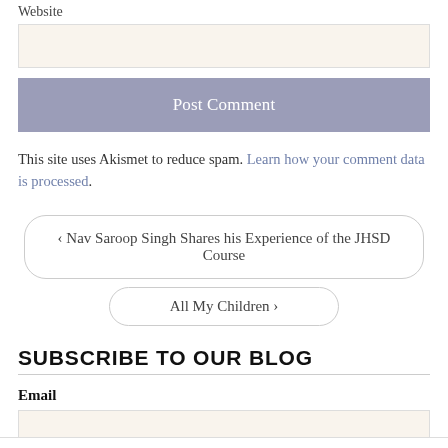Website
[Figure (other): Website text input field (empty, beige background)]
Post Comment
This site uses Akismet to reduce spam. Learn how your comment data is processed.
‹ Nav Saroop Singh Shares his Experience of the JHSD Course
All My Children ›
SUBSCRIBE TO OUR BLOG
Email
[Figure (other): Email text input field (empty, beige background)]